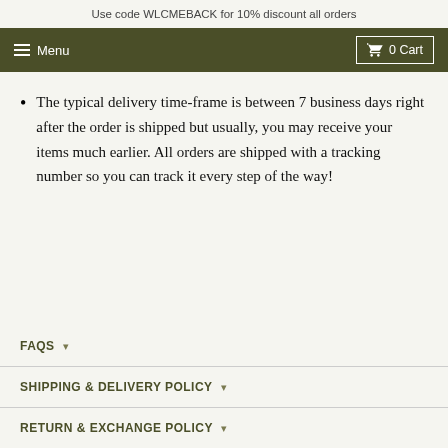Use code WLCMEBACK for 10% discount all orders
≡ Menu   🛒 0 Cart
The typical delivery time-frame is between 7 business days right after the order is shipped but usually, you may receive your items much earlier. All orders are shipped with a tracking number so you can track it every step of the way!
FAQS
SHIPPING & DELIVERY POLICY
RETURN & EXCHANGE POLICY